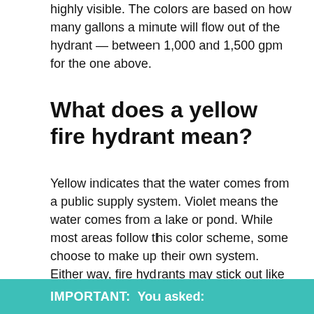highly visible. The colors are based on how many gallons a minute will flow out of the hydrant — between 1,000 and 1,500 gpm for the one above.
What does a yellow fire hydrant mean?
Yellow indicates that the water comes from a public supply system. Violet means the water comes from a lake or pond. While most areas follow this color scheme, some choose to make up their own system. Either way, fire hydrants may stick out like a sore thumb but those bright colors are chosen with your safety in mind.
IMPORTANT: You asked: